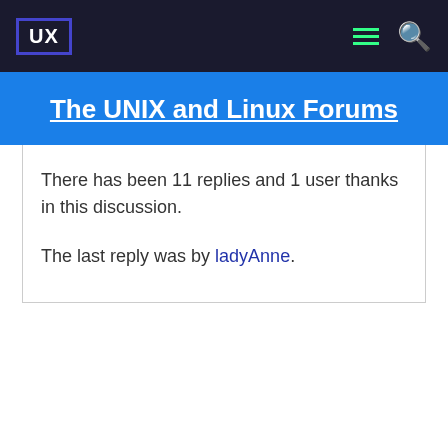UX — The UNIX and Linux Forums
The UNIX and Linux Forums
There has been 11 replies and 1 user thanks in this discussion.
The last reply was by ladyAnne.